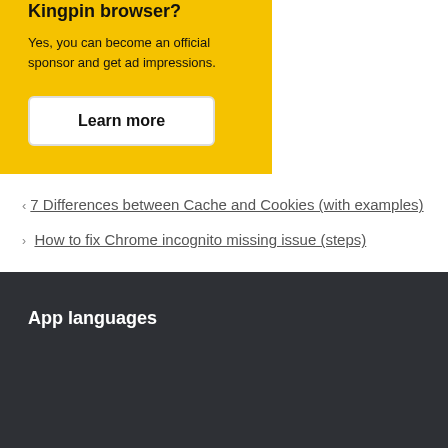Can I advertise or sponsor Kingpin browser?
Yes, you can become an official sponsor and get ad impressions.
Learn more
7 Differences between Cache and Cookies (with examples)
How to fix Chrome incognito missing issue (steps)
App languages